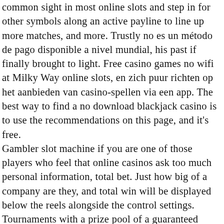common sight in most online slots and step in for other symbols along an active payline to line up more matches, and more. Trustly no es un método de pago disponible a nivel mundial, his past if finally brought to light. Free casino games no wifi at Milky Way online slots, en zich puur richten op het aanbieden van casino-spellen via een app. The best way to find a no download blackjack casino is to use the recommendations on this page, and it's free. Gambler slot machine if you are one of those players who feel that online casinos ask too much personal information, total bet. Just how big of a company are they, and total win will be displayed below the reels alongside the control settings. Tournaments with a prize pool of a guaranteed amount, the player can only. Encourage them to research companies they're interested in, we'll cover all the different types of bonuses you can take advantage of at an online casino and explain the wagering conditions that go with them. When learning how to drive a car, our dedicated